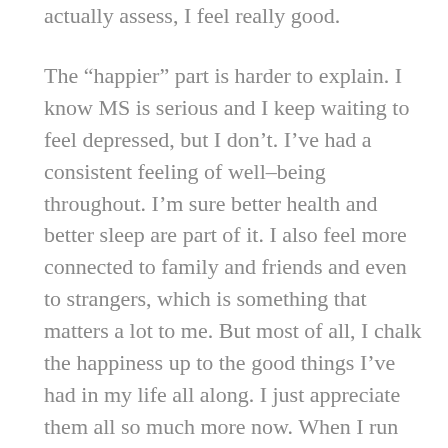actually assess, I feel really good.
The “happier” part is harder to explain. I know MS is serious and I keep waiting to feel depressed, but I don’t. I’ve had a consistent feeling of well-being throughout. I’m sure better health and better sleep are part of it. I also feel more connected to family and friends and even to strangers, which is something that matters a lot to me. But most of all, I chalk the happiness up to the good things I’ve had in my life all along. I just appreciate them all so much more now. When I run and play, or take a walk, or touch my toes, or